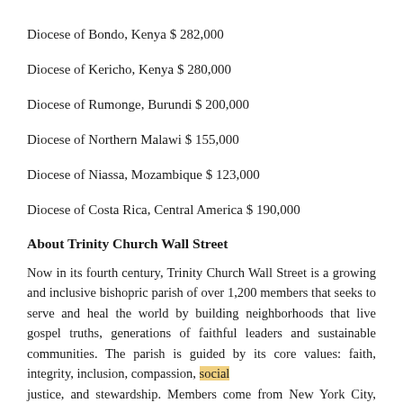Diocese of Bondo, Kenya $ 282,000
Diocese of Kericho, Kenya $ 280,000
Diocese of Rumonge, Burundi $ 200,000
Diocese of Northern Malawi $ 155,000
Diocese of Niassa, Mozambique $ 123,000
Diocese of Costa Rica, Central America $ 190,000
About Trinity Church Wall Street
Now in its fourth century, Trinity Church Wall Street is a growing and inclusive bishopric parish of over 1,200 members that seeks to serve and heal the world by building neighborhoods that live gospel truths, generations of faithful leaders and sustainable communities. The parish is guided by its core values: faith, integrity, inclusion, compassion, social justice, and stewardship. Members come from New York City, after...